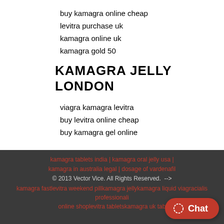buy kamagra online cheap
levitra purchase uk
kamagra online uk
kamagra gold 50
KAMAGRA JELLY  LONDON
viagra kamagra levitra
buy levitra online cheap
buy kamagra gel online
kamagra tablets india | kamagra oral jelly usa | kamagra in australia legal | dosage of vardenafil © 2013 Vector Vice. All Rights Reserved.  --> kamagra fastlevitra weekend pillkamagra jellykamagra liquid viagracialis professionali online shoplevitra tabletskamagra uk tab